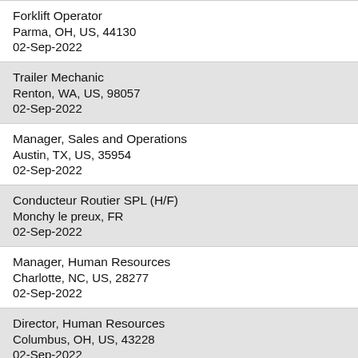Forklift Operator
Parma, OH, US, 44130
02-Sep-2022
Trailer Mechanic
Renton, WA, US, 98057
02-Sep-2022
Manager, Sales and Operations
Austin, TX, US, 35954
02-Sep-2022
Conducteur Routier SPL (H/F)
Monchy le preux, FR
02-Sep-2022
Manager, Human Resources
Charlotte, NC, US, 28277
02-Sep-2022
Director, Human Resources
Columbus, OH, US, 43228
02-Sep-2022